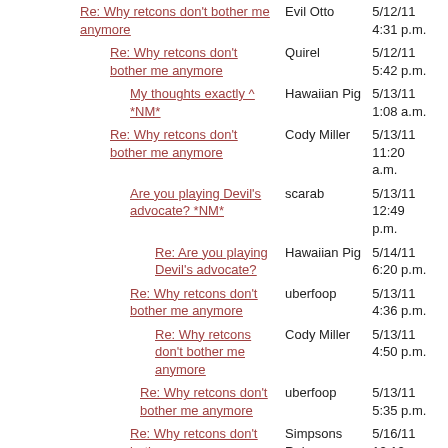| Subject | Author | Date |
| --- | --- | --- |
| Re: Why retcons don't bother me anymore | Evil Otto | 5/12/11 4:31 p.m. |
| Re: Why retcons don't bother me anymore | Quirel | 5/12/11 5:42 p.m. |
| My thoughts exactly ^ *NM* | Hawaiian Pig | 5/13/11 1:08 a.m. |
| Re: Why retcons don't bother me anymore | Cody Miller | 5/13/11 11:20 a.m. |
| Are you playing Devil's advocate? *NM* | scarab | 5/13/11 12:49 p.m. |
| Re: Are you playing Devil's advocate? | Hawaiian Pig | 5/14/11 6:20 p.m. |
| Re: Why retcons don't bother me anymore | uberfoop | 5/13/11 4:36 p.m. |
| Re: Why retcons don't bother me anymore | Cody Miller | 5/13/11 4:50 p.m. |
| Re: Why retcons don't bother me anymore | uberfoop | 5/13/11 5:35 p.m. |
| Re: Why retcons don't bother me anymore | Simpsons Rule | 5/16/11 12:12 a.m. |
| Re: Why retcons don't bother me anymore | Narcogen | 5/16/11 1:13 a.m. |
| Thoughts and... |  | 5/16/11 |